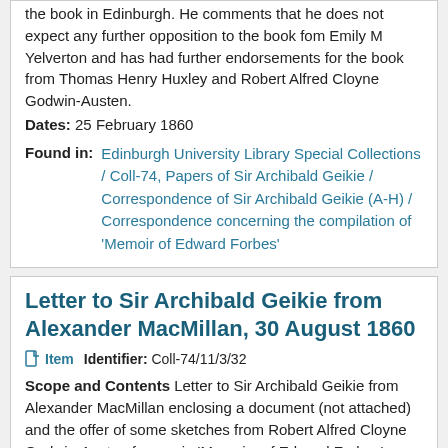the book in Edinburgh. He comments that he does not expect any further opposition to the book fom Emily M Yelverton and has had further endorsements for the book from Thomas Henry Huxley and Robert Alfred Cloyne Godwin-Austen.
Dates: 25 February 1860
Found in: Edinburgh University Library Special Collections / Coll-74, Papers of Sir Archibald Geikie / Correspondence of Sir Archibald Geikie (A-H) / Correspondence concerning the compilation of 'Memoir of Edward Forbes'
Letter to Sir Archibald Geikie from Alexander MacMillan, 30 August 1860
Item   Identifier: Coll-74/11/3/32
Scope and Contents Letter to Sir Archibald Geikie from Alexander MacMillan enclosing a document (not attached) and the offer of some sketches from Robert Alfred Cloyne Godwin-Austen for use in 'Memoirs of Edward Forbes'.
Dates: 30 August 1860